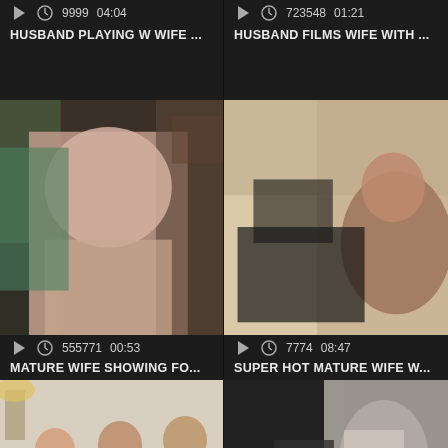[Figure (screenshot): Video thumbnail grid showing adult video listings with play counts and durations]
9999  04:04
HUSBAND PLAYING W WIFE ...
723548  01:21
HUSBAND FILMS WIFE WITH ...
[Figure (photo): Video thumbnail: woman in colorful robe]
555771  00:53
MATURE WIFE SHOWING FO...
[Figure (photo): Video thumbnail: couple on couch]
7774  08:47
SUPER HOT MATURE WIFE W...
[Figure (photo): Video thumbnail: three people sitting]
[Figure (photo): Video thumbnail: close-up blurred scene]